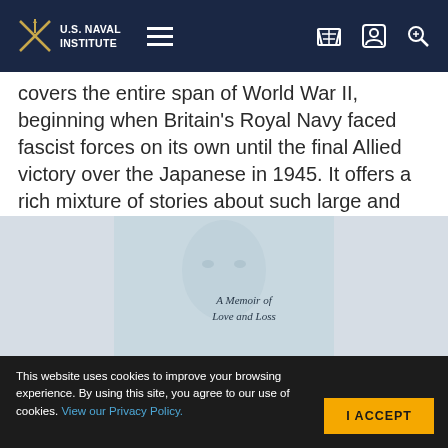U.S. Naval Institute
covers the entire span of World War II, beginning when Britain's Royal Navy faced fascist forces on its own until the final Allied victory over the Japanese in 1945. It offers a rich mixture of stories about such large and well-known battles and operations as the Battle of the River Plate, Pearl Harbor, and …
Available Formats: Hardcover
[Figure (photo): Book cover showing a face with text 'A Memoir of Love and Loss' on a pale blue background]
This website uses cookies to improve your browsing experience. By using this site, you agree to our use of cookies. View our Privacy Policy.